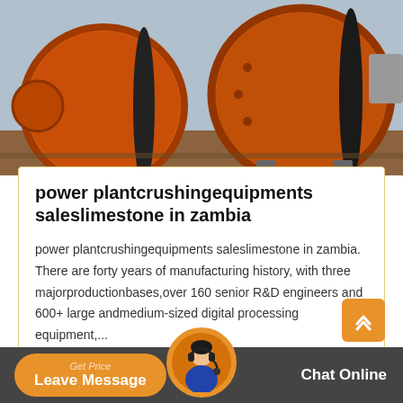[Figure (photo): Large orange industrial ball mills / grinding equipment on a construction/factory yard. Heavy orange cylindrical drums with gear rings and steel support frames visible.]
power plantcrushingequipments saleslimestone in zambia
power plantcrushingequipments saleslimestone in zambia. There are forty years of manufacturing history, with three majorproductionbases,over 160 senior R&D engineers and 600+ large andmedium-sized digital processing equipment,...
Get Price
Leave Message
Chat Online